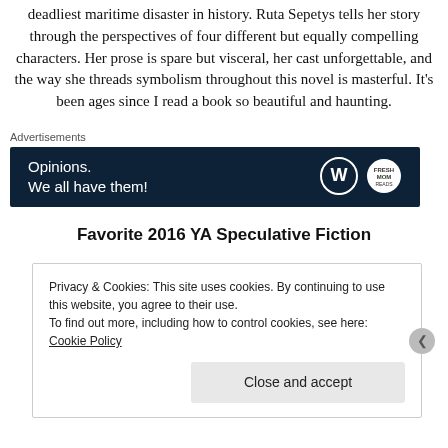deadliest maritime disaster in history. Ruta Sepetys tells her story through the perspectives of four different but equally compelling characters. Her prose is spare but visceral, her cast unforgettable, and the way she threads symbolism throughout this novel is masterful. It's been ages since I read a book so beautiful and haunting.
Advertisements
[Figure (other): Advertisement banner with dark navy background showing 'Opinions. We all have them!' text and WordPress logo with a circular badge on the right.]
Favorite 2016 YA Speculative Fiction
Privacy & Cookies: This site uses cookies. By continuing to use this website, you agree to their use. To find out more, including how to control cookies, see here: Cookie Policy